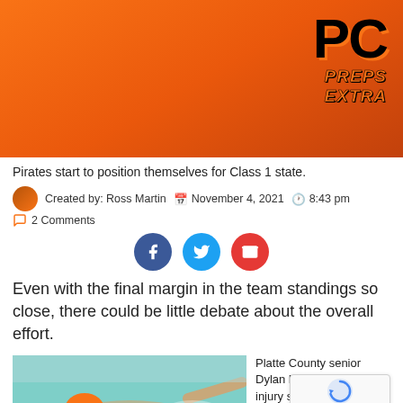[Figure (logo): PC Preps Extra logo on orange gradient banner background]
Pirates start to position themselves for Class 1 state.
Created by: Ross Martin  November 4, 2021  8:43 pm  2 Comments
[Figure (infographic): Social share buttons: Facebook (dark blue), Twitter (light blue), Email (red)]
Even with the final margin in the team standings so close, there could be little debate about the overall effort.
[Figure (photo): Swimmer in orange cap doing freestyle stroke in a pool]
Platte County senior Dylan Bietz overca... injury s... to turn in the...